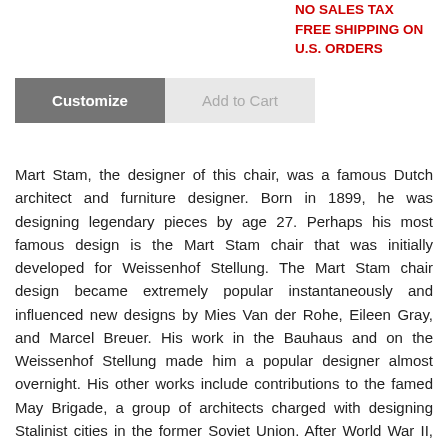NO SALES TAX
FREE SHIPPING ON
U.S. ORDERS
Customize  Add to Cart
Mart Stam, the designer of this chair, was a famous Dutch architect and furniture designer. Born in 1899, he was designing legendary pieces by age 27. Perhaps his most famous design is the Mart Stam chair that was initially developed for Weissenhof Stellung. The Mart Stam chair design became extremely popular instantaneously and influenced new designs by Mies Van der Rohe, Eileen Gray, and Marcel Breuer. His work in the Bauhaus and on the Weissenhof Stellung made him a popular designer almost overnight. His other works include contributions to the famed May Brigade, a group of architects charged with designing Stalinist cities in the former Soviet Union. After World War II, Mart Stam became involved in a number of reconstruction projects in Germany. He advocated rebuilding with a modernist approach but